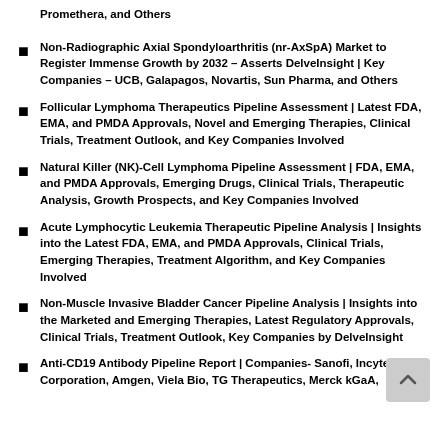Promethera, and Others
Non-Radiographic Axial Spondyloarthritis (nr-AxSpA) Market to Register Immense Growth by 2032 – Asserts DelveInsight | Key Companies – UCB, Galapagos, Novartis, Sun Pharma, and Others
Follicular Lymphoma Therapeutics Pipeline Assessment | Latest FDA, EMA, and PMDA Approvals, Novel and Emerging Therapies, Clinical Trials, Treatment Outlook, and Key Companies Involved
Natural Killer (NK)-Cell Lymphoma Pipeline Assessment | FDA, EMA, and PMDA Approvals, Emerging Drugs, Clinical Trials, Therapeutic Analysis, Growth Prospects, and Key Companies Involved
Acute Lymphocytic Leukemia Therapeutic Pipeline Analysis | Insights into the Latest FDA, EMA, and PMDA Approvals, Clinical Trials, Emerging Therapies, Treatment Algorithm, and Key Companies Involved
Non-Muscle Invasive Bladder Cancer Pipeline Analysis | Insights into the Marketed and Emerging Therapies, Latest Regulatory Approvals, Clinical Trials, Treatment Outlook, Key Companies by DelveInsight
Anti-CD19 Antibody Pipeline Report | Companies- Sanofi, Incyte Corporation, Amgen, Viela Bio, TG Therapeutics, Merck kGaA,